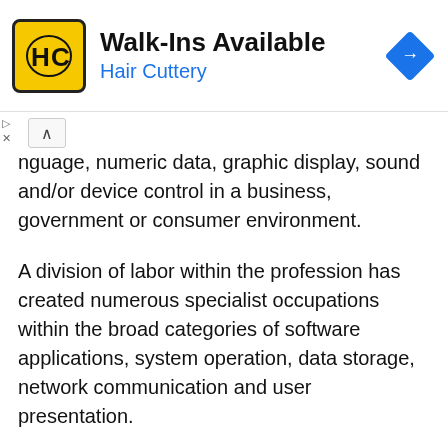[Figure (logo): Hair Cuttery advertisement banner with HC logo in yellow square, 'Walk-Ins Available' heading, 'Hair Cuttery' subtitle in blue, and a blue navigation/directions diamond icon on the right.]
…nguage, numeric data, graphic display, sound and/or device control in a business, government or consumer environment.
A division of labor within the profession has created numerous specialist occupations within the broad categories of software applications, system operation, data storage, network communication and user presentation.
Demand
Professional Opportunities